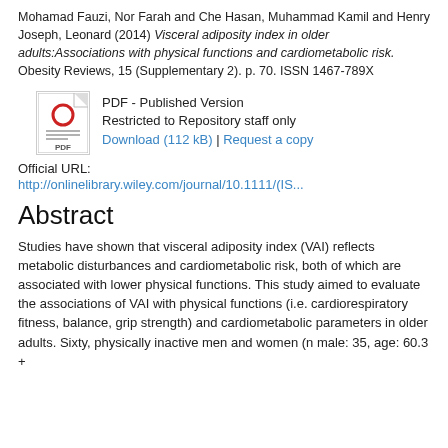Mohamad Fauzi, Nor Farah and Che Hasan, Muhammad Kamil and Henry Joseph, Leonard (2014) Visceral adiposity index in older adults:Associations with physical functions and cardiometabolic risk. Obesity Reviews, 15 (Supplementary 2). p. 70. ISSN 1467-789X
[Figure (other): PDF document icon showing a red circle O and lines representing text, with 'PDF' label at bottom]
PDF - Published Version
Restricted to Repository staff only
Download (112 kB) | Request a copy
Official URL:
http://onlinelibrary.wiley.com/journal/10.1111/(IS...
Abstract
Studies have shown that visceral adiposity index (VAI) reflects metabolic disturbances and cardiometabolic risk, both of which are associated with lower physical functions. This study aimed to evaluate the associations of VAI with physical functions (i.e. cardiorespiratory fitness, balance, grip strength) and cardiometabolic parameters in older adults. Sixty, physically inactive men and women (n male: 35, age: 60.3 +